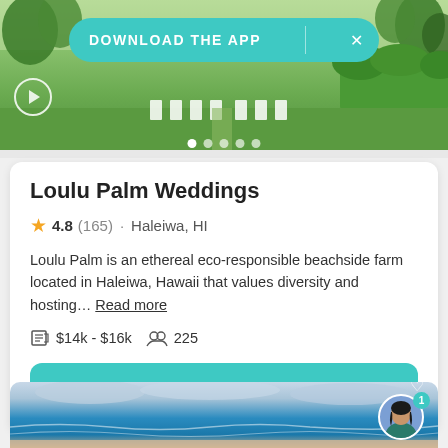[Figure (screenshot): Outdoor garden/lawn wedding venue photo with green grass, white chairs, trees. Has a teal 'DOWNLOAD THE APP' banner overlay at top, a play button icon, and carousel dots.]
Loulu Palm Weddings
4.8 (165) · Haleiwa, HI
Loulu Palm is an ethereal eco-responsible beachside farm located in Haleiwa, Hawaii that values diversity and hosting… Read more
$14k - $16k  225
Request pricing
[Figure (photo): Ocean/beach scene with blue water, waves, cloudy sky. Partial view at bottom of page with an avatar/profile bubble in bottom right corner showing a female character with dark hair and a notification badge of '1'.]